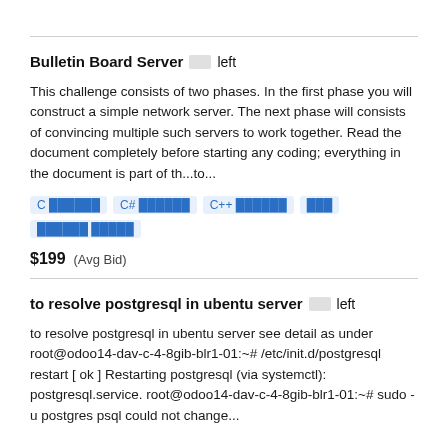Bulletin Board Server  left
This challenge consists of two phases. In the first phase you will construct a simple network server. The next phase will consists of convincing multiple such servers to work together. Read the document completely before starting any coding; everything in the document is part of th...to...
C  ######   C# ######   C++ ######   ###   ###### #####
$199  (Avg Bid)
to resolve postgresql in ubentu server  left
to resolve postgresql in ubentu server see detail as under root@odoo14-dav-c-4-8gib-blr1-01:~# /etc/init.d/postgresql restart [ ok ] Restarting postgresql (via systemctl): postgresql.service. root@odoo14-dav-c-4-8gib-blr1-01:~# sudo -u postgres psql could not change...